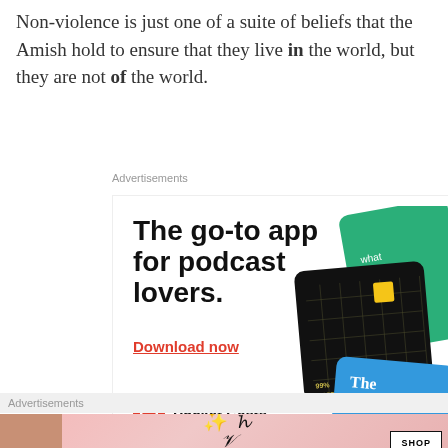Non-violence is just one of a suite of beliefs that the Amish hold to ensure that they live in the world, but they are not of the world.
Advertisements
[Figure (screenshot): Pocket Casts advertisement: 'The go-to app for podcast lovers. Download now' with podcast app card graphics and Pocket Casts logo.]
Advertisements
[Figure (screenshot): Victoria's Secret advertisement: 'SHOP THE COLLECTION' with SHOP NOW button and model photo.]